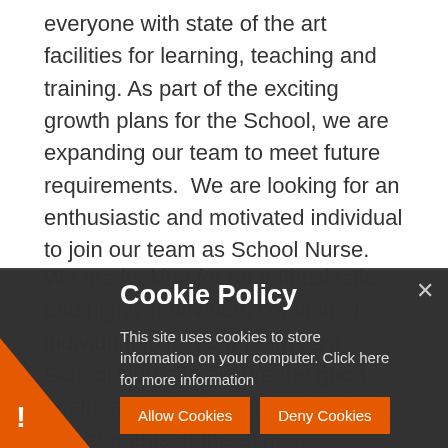everyone with state of the art facilities for learning, teaching and training. As part of the exciting growth plans for the School, we are expanding our team to meet future requirements.  We are looking for an enthusiastic and motivated individual to join our team as School Nurse.
We are looking for an enthusiastic and highly motivated, committed individual to join our team as a School Nurse to ensure the good health and well-being of all pupils and students at the School.
[Figure (screenshot): Cookie policy banner overlay on dark semi-transparent background. Title: 'Cookie Policy'. Body: 'This site uses cookies to store information on your computer. Click here for more information'. Two orange buttons: 'Allow Cookies' and 'Deny Cookies'. Close X button top right. Orange triangle with exclamation mark bottom left.]